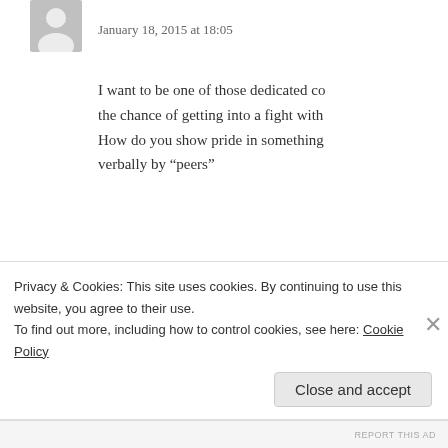January 18, 2015 at 18:05
I want to be one of those dedicated co... the chance of getting into a fight with... How do you show pride in something... verbally by “peers”
★ Like
sam says:
January 18, 2015 at 18:07
Cooks* grunt* pardon me
Privacy & Cookies: This site uses cookies. By continuing to use this website, you agree to their use.
To find out more, including how to control cookies, see here: Cookie Policy
Close and accept
REPORT THIS AD